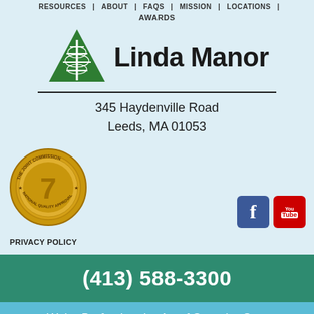RESOURCES | ABOUT | FAQS | MISSION | LOCATIONS | AWARDS
[Figure (logo): Linda Manor logo: green mountain triangle with white tree/leaf design and bold text 'Linda Manor' beside it, with horizontal underline]
345 Haydenville Road
Leeds, MA 01053
[Figure (illustration): The Joint Commission National Quality Approval gold seal/medallion]
[Figure (illustration): Facebook and YouTube social media icons]
PRIVACY POLICY
(413) 588-3300
We're Perfecting the Art of Superior Care